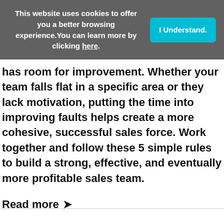This website uses cookies to offer you a better browsing experience. You can learn more by clicking here.
has room for improvement. Whether your team falls flat in a specific area or they lack motivation, putting the time into improving faults helps create a more cohesive, successful sales force. Work together and follow these 5 simple rules to build a strong, effective, and eventually more profitable sales team.
Read more ❯